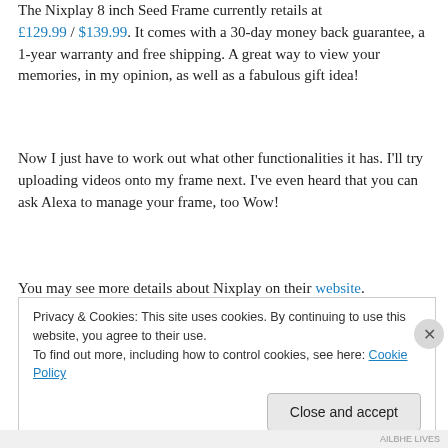The Nixplay 8 inch Seed Frame currently retails at £129.99 / $139.99. It comes with a 30-day money back guarantee, a 1-year warranty and free shipping. A great way to view your memories, in my opinion, as well as a fabulous gift idea!
Now I just have to work out what other functionalities it has. I'll try uploading videos onto my frame next. I've even heard that you can ask Alexa to manage your frame, too Wow!
You may see more details about Nixplay on their website.
Privacy & Cookies: This site uses cookies. By continuing to use this website, you agree to their use.
To find out more, including how to control cookies, see here: Cookie Policy